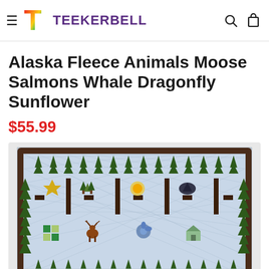≡ TEEKERBELL [search] [cart]
Alaska Fleece Animals Moose Salmons Whale Dragonfly Sunflower
$55.99
[Figure (photo): Product photo of a quilt featuring Alaska wildlife motifs including moose, salmon, whale, dragonfly, sunflower, eagles, pine trees, and geometric patterns on a light blue background with a dark brown border.]